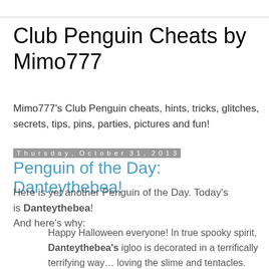Club Penguin Cheats by Mimo777
Mimo777's Club Penguin cheats, hints, tricks, glitches, secrets, tips, pins, parties, pictures and fun!
Thursday, October 31, 2013
Penguin of the Day: Danteythebea!
Here is yet another Penguin of the Day. Today's is Danteythebea!
And here's why:
Happy Halloween everyone! In true spooky spirit, Danteythebea's igloo is decorated in a terrifically terrifying way… loving the slime and tentacles. Don't forget to share your SWEETs with everyone! Mwahaha!